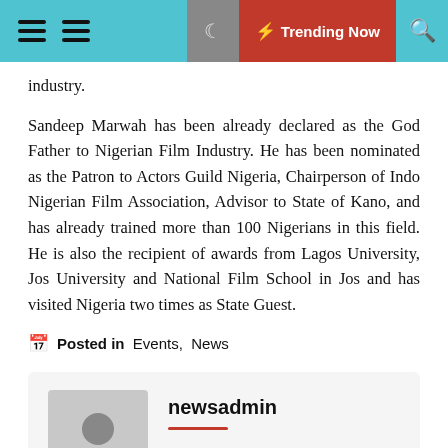≡ ≡  🌙  ⚡ Trending Now  🔍
industry.
Sandeep Marwah has been already declared as the God Father to Nigerian Film Industry. He has been nominated as the Patron to Actors Guild Nigeria, Chairperson of Indo Nigerian Film Association, Advisor to State of Kano, and has already trained more than 100 Nigerians in this field. He is also the recipient of awards from Lagos University, Jos University and National Film School in Jos and has visited Nigeria two times as State Guest.
📅 Posted in  Events,  News
newsadmin